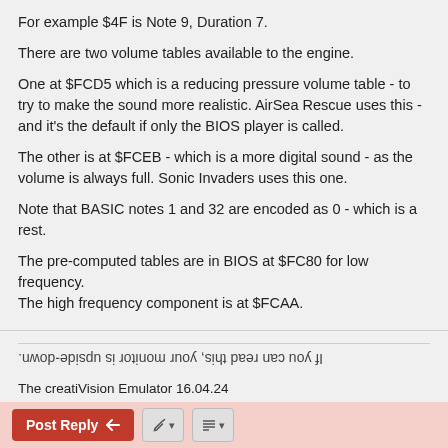For example $4F is Note 9, Duration 7.
There are two volume tables available to the engine.
One at $FCD5 which is a reducing pressure volume table - to try to make the sound more realistic. AirSea Rescue uses this - and it's the default if only the BIOS player is called.
The other is at $FCEB - which is a more digital sound - as the volume is always full. Sonic Invaders uses this one.
Note that BASIC notes 1 and 32 are encoded as 0 - which is a rest.
The pre-computed tables are in BIOS at $FC80 for low frequency.
The high frequency component is at $FCAA.
If you can read this, your monitor is upside-down. (upside-down rendered text)
The creatiVision Emulator 16.04.24
Salora Manager / Laser 2001 BLOAD utility 0.9
CSL Cartridge - Replacement Keyboard - MegaSDCart BIOS
http://sourceforge.net/projects/creativisionemulator